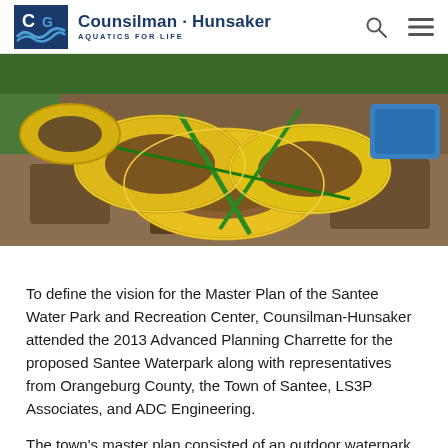Counsilman-Hunsaker AQUATICS FOR LIFE
[Figure (photo): Aerial view of yellow inflatable tube rings and water park equipment being assembled or stored outdoors, viewed from above.]
To define the vision for the Master Plan of the Santee Water Park and Recreation Center, Counsilman-Hunsaker attended the 2013 Advanced Planning Charrette for the proposed Santee Waterpark along with representatives from Orangeburg County, the Town of Santee, LS3P Associates, and ADC Engineering.
The town's master plan consisted of an outdoor waterpark, recreation fields and courts, and supporting ancillary structures. Counsilman-